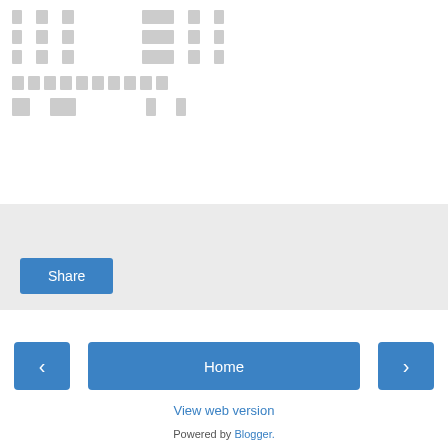[Figure (screenshot): Rows of small grey placeholder boxes representing unrendered text/characters in a foreign script]
[Figure (screenshot): A row of larger grey placeholder boxes, likely representing a longer word or heading]
[Figure (screenshot): A row of smaller grey placeholder boxes representing a navigation or metadata line]
[Figure (screenshot): A Share button inside a light grey box area]
[Figure (screenshot): Navigation buttons: left arrow, Home, right arrow]
View web version
Powered by Blogger.